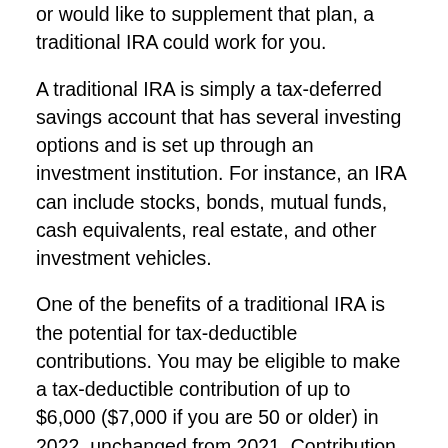or would like to supplement that plan, a traditional IRA could work for you.
A traditional IRA is simply a tax-deferred savings account that has several investing options and is set up through an investment institution. For instance, an IRA can include stocks, bonds, mutual funds, cash equivalents, real estate, and other investment vehicles.
One of the benefits of a traditional IRA is the potential for tax-deductible contributions. You may be eligible to make a tax-deductible contribution of up to $6,000 ($7,000 if you are 50 or older) in 2022, unchanged from 2021. Contribution limits are indexed annually for inflation.
You can contribute directly to a traditional IRA or you can transfer assets directly from another type of qualified plan, such as a SEP or a SIMPLE IRA. Rollovers may also be made from a qualified employer-